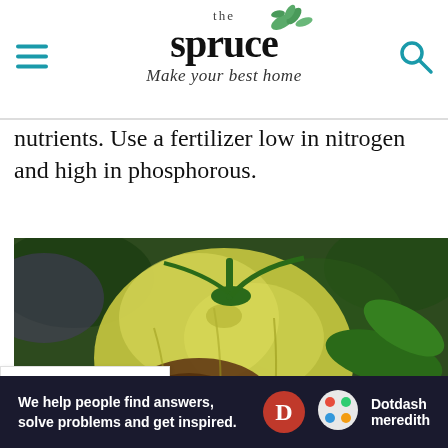the spruce — Make your best home
nutrients. Use a fertilizer low in nitrogen and high in phosphorous.
[Figure (photo): Close-up photograph of a green tomato on the vine showing blossom end rot or cracking damage, with brown scarring at the base and green leaves surrounding it.]
BACK TO TOP
We help people find answers, solve problems and get inspired. Dotdash meredith